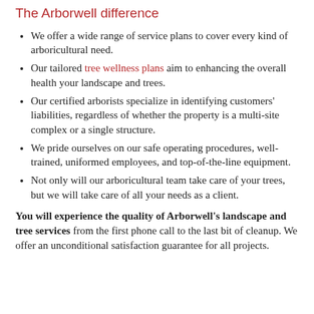The Arborwell difference
We offer a wide range of service plans to cover every kind of arboricultural need.
Our tailored tree wellness plans aim to enhancing the overall health your landscape and trees.
Our certified arborists specialize in identifying customers' liabilities, regardless of whether the property is a multi-site complex or a single structure.
We pride ourselves on our safe operating procedures, well-trained, uniformed employees, and top-of-the-line equipment.
Not only will our arboricultural team take care of your trees, but we will take care of all your needs as a client.
You will experience the quality of Arborwell's landscape and tree services from the first phone call to the last bit of cleanup. We offer an unconditional satisfaction guarantee for all projects.